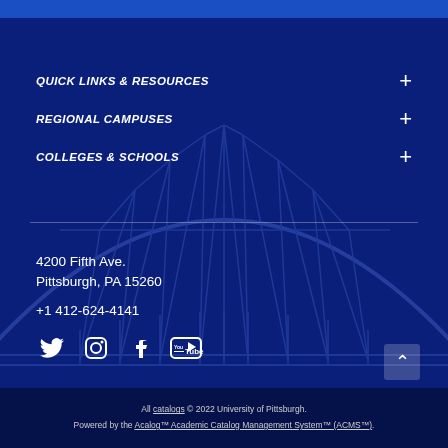QUICK LINKS & RESOURCES
REGIONAL CAMPUSES
COLLEGES & SCHOOLS
4200 Fifth Ave.
Pittsburgh, PA 15260
+1 412-624-4141
[Figure (logo): Social media icons: Twitter, Instagram, Facebook, YouTube]
All catalogs © 2022 University of Pittsburgh. Powered by the Acalog™ Academic Catalog Management System™ (ACMS™).